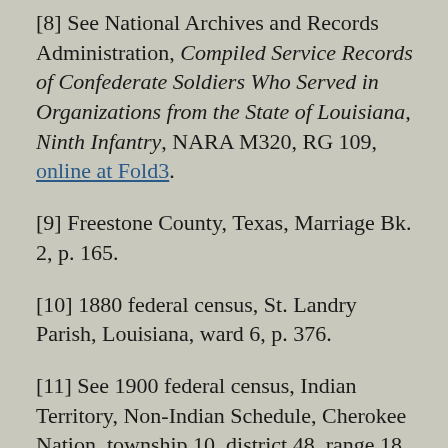[8] See National Archives and Records Administration, Compiled Service Records of Confederate Soldiers Who Served in Organizations from the State of Louisiana, Ninth Infantry, NARA M320, RG 109, online at Fold3.
[9] Freestone County, Texas, Marriage Bk. 2, p. 165.
[10] 1880 federal census, St. Landry Parish, Louisiana, ward 6, p. 376.
[11] See 1900 federal census, Indian Territory, Non-Indian Schedule, Cherokee Nation, township 10, district 48, range 18 east, sheet 28St; and William O. Lindsey's Find a Grave memorial page, Hichita-Lackey cemetery, McIntosh County, Oklahoma, which has a photo of his tombstone